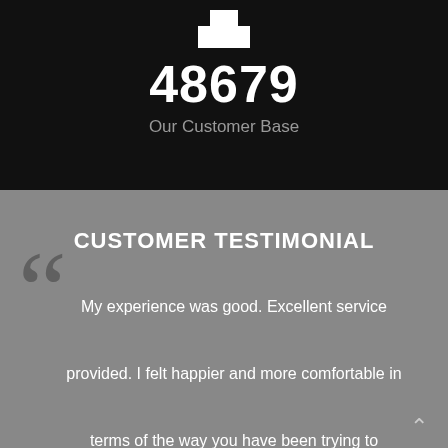[Figure (logo): White logo icon at top of dark section]
48679
Our Customer Base
CUSTOMER TESTIMONIAL
My experience was good. Excellent service provided. I felt happier and more comfortable in terms of the way you have been trying to resolve the issue. I am very much happy with